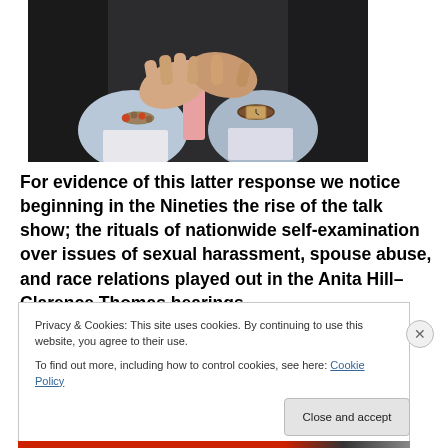[Figure (photo): Two people clasping hands together, both wearing dress shirts and suit jackets. One wears a beaded bracelet and the other wears a leather-strap watch. A pink tie is visible in the background.]
For evidence of this latter response we notice beginning in the Nineties the rise of the talk show; the rituals of nationwide self-examination over issues of sexual harassment, spouse abuse, and race relations played out in the Anita Hill–Clarence Thomas hearings
Privacy & Cookies: This site uses cookies. By continuing to use this website, you agree to their use.
To find out more, including how to control cookies, see here: Cookie Policy
Close and accept